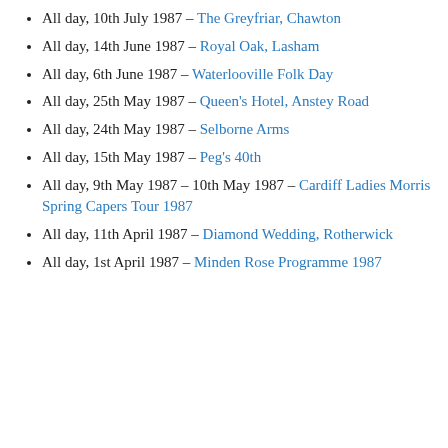All day, 10th July 1987 – The Greyfriar, Chawton
All day, 14th June 1987 – Royal Oak, Lasham
All day, 6th June 1987 – Waterlooville Folk Day
All day, 25th May 1987 – Queen's Hotel, Anstey Road
All day, 24th May 1987 – Selborne Arms
All day, 15th May 1987 – Peg's 40th
All day, 9th May 1987 – 10th May 1987 – Cardiff Ladies Morris Spring Capers Tour 1987
All day, 11th April 1987 – Diamond Wedding, Rotherwick
All day, 1st April 1987 – Minden Rose Programme 1987